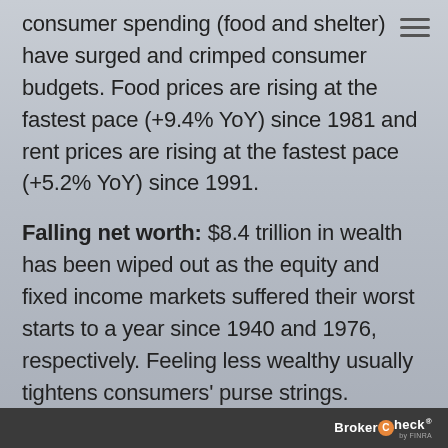consumer spending (food and shelter) have surged and crimped consumer budgets. Food prices are rising at the fastest pace (+9.4% YoY) since 1981 and rent prices are rising at the fastest pace (+5.2% YoY) since 1991.
Falling net worth: $8.4 trillion in wealth has been wiped out as the equity and fixed income markets suffered their worst starts to a year since 1940 and 1976, respectively. Feeling less wealthy usually tightens consumers' purse strings.
BrokerCheck